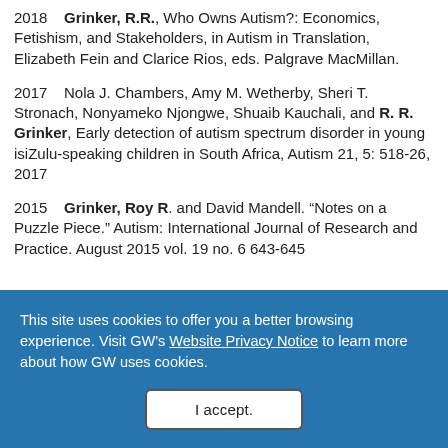2018    Grinker, R.R., Who Owns Autism?: Economics, Fetishism, and Stakeholders, in Autism in Translation, Elizabeth Fein and Clarice Rios, eds. Palgrave MacMillan.
2017    Nola J. Chambers, Amy M. Wetherby, Sheri T. Stronach, Nonyameko Njongwe, Shuaib Kauchali, and R. R. Grinker, Early detection of autism spectrum disorder in young isiZulu-speaking children in South Africa, Autism 21, 5: 518-26, 2017
2015    Grinker, Roy R. and David Mandell. "Notes on a Puzzle Piece." Autism: International Journal of Research and Practice. August 2015 vol. 19 no. 6 643-645
This site uses cookies to offer you a better browsing experience. Visit GW's Website Privacy Notice to learn more about how GW uses cookies.
I accept.